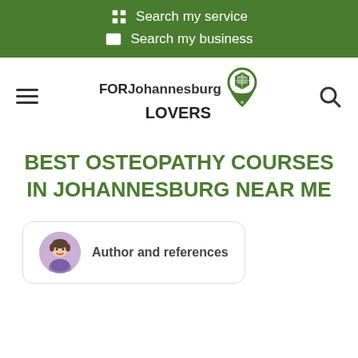Search my service
Search my business
[Figure (logo): FORJohannesburg LOVERS logo with map pin icon]
BEST OSTEOPATHY COURSES IN JOHANNESBURG NEAR ME
Author and references